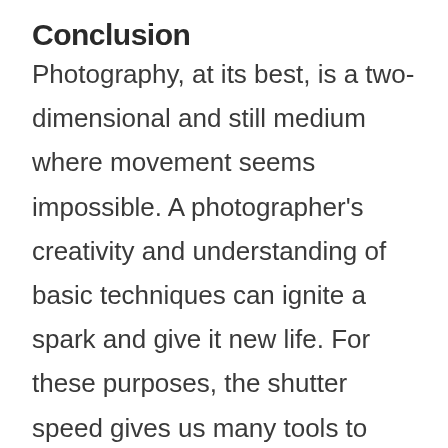Conclusion
Photography, at its best, is a two-dimensional and still medium where movement seems impossible. A photographer’s creativity and understanding of basic techniques can ignite a spark and give it new life. For these purposes, the shutter speed gives us many tools to create the illusion of motion that makes our photographs more dynamic and alive.